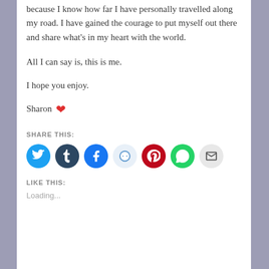because I know how far I have personally travelled along my road. I have gained the courage to put myself out there and share what's in my heart with the world.
All I can say is, this is me.
I hope you enjoy.
Sharon ❤
SHARE THIS:
[Figure (infographic): Social sharing icons: Twitter (cyan), Tumblr (dark navy), Facebook (blue), Reddit (light blue), Pinterest (red), WhatsApp (green), Email (gray)]
LIKE THIS:
Loading...